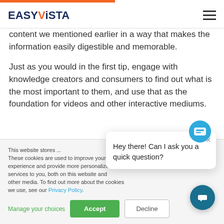EASYViSTA
content we mentioned earlier in a way that makes the information easily digestible and memorable.
Just as you would in the first tip, engage with knowledge creators and consumers to find out what is the most important to them, and use that as the foundation for videos and other interactive mediums.
This website stores ... These cookies are used ... experience and provide ... services to you, both ... other media. To find ... we use, see our Privacy Policy.
Hey there! Can I ask you a quick question?